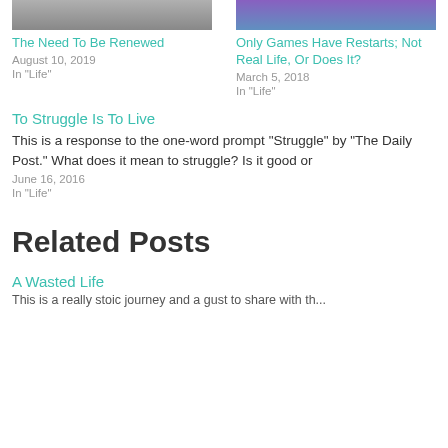[Figure (photo): Photo of people (children/teens) using phones or gaming devices, partial view at top]
The Need To Be Renewed
August 10, 2019
In "Life"
[Figure (photo): Photo of people gaming with colorful purple/blue lighting, partial view at top]
Only Games Have Restarts; Not Real Life, Or Does It?
March 5, 2018
In "Life"
To Struggle Is To Live
This is a response to the one-word prompt "Struggle" by "The Daily Post." What does it mean to struggle? Is it good or
June 16, 2016
In "Life"
Related Posts
A Wasted Life
This is a really stoic journey and...